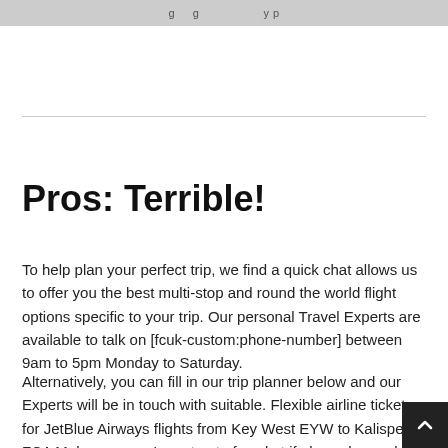g g y p
Pros: Terrible!
To help plan your perfect trip, we find a quick chat allows us to offer you the best multi-stop and round the world flight options specific to your trip. Our personal Travel Experts are available to talk on [fcuk-custom:phone-number] between 9am to 5pm Monday to Saturday.
Alternatively, you can fill in our trip planner below and our Experts will be in touch with suitable. Flexible airline tickets for JetBlue Airways flights from Key West EYW to Kalispell FCA Make sure you're not out of pocket if plans change by choosing a flexible